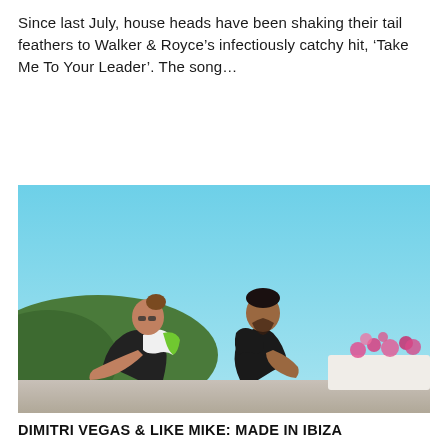Since last July, house heads have been shaking their tail feathers to Walker & Royce’s infectiously catchy hit, ‘Take Me To Your Leader’. The song...
[Figure (photo): Two men sitting back-to-back outdoors on a sunny day. The man on the left has long hair in a bun and wears a white tank top; the man on the right has dark hair and wears a black jacket. Mountains and pink flowers are visible in the background under a clear blue sky.]
DIMITRI VEGAS & LIKE MIKE: MADE IN IBIZA